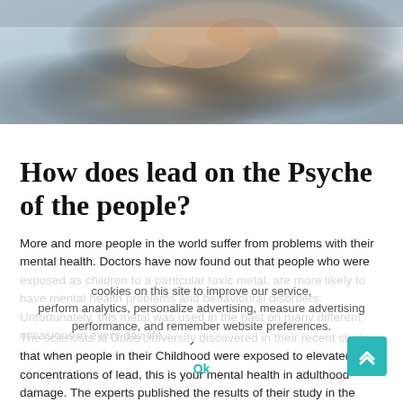[Figure (photo): Person holding their head in their hands, suggesting stress or mental distress, grey/blue tones]
How does lead on the Psyche of the people?
More and more people in the world suffer from problems with their mental health. Doctors have now found out that people who were exposed as children to a particular toxic metal, are more likely to have mental health problems and behavioural disorders. Unfortunately, this metal was used in the past on many different occasions in every-day life.
The scientists at Duke University discovered in their recent study, that when people in their Childhood were exposed to elevated concentrations of lead, this is your mental health in adulthood damage. The experts published the results of their study in the